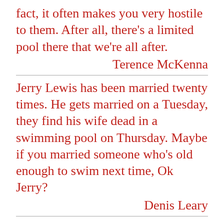fact, it often makes you very hostile to them. After all, there's a limited pool there that we're all after.
Terence McKenna
Jerry Lewis has been married twenty times. He gets married on a Tuesday, they find his wife dead in a swimming pool on Thursday. Maybe if you married someone who's old enough to swim next time, Ok Jerry?
Denis Leary
A corner of his mouth quirked up. â€˜ pool. ner sport youâ€™re curious about?â€™ â€˜Hockey? Polo?â€™ â€˜Simultaneously. Trick is to keep
[Figure (other): Advertisement overlay: '37 HOME AND KITCHEN ITEMS EVERYONE SHOULD OWN' with CLOSE button, bag/storage product images, and a circular badge with '22']